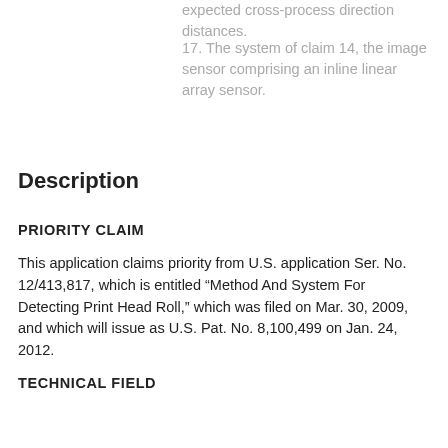expected cross-process direction distances.
17. The system of claim 14, the image sensor comprising an inline linear array sensor.
Description
PRIORITY CLAIM
This application claims priority from U.S. application Ser. No. 12/413,817, which is entitled “Method And System For Detecting Print Head Roll,” which was filed on Mar. 30, 2009, and which will issue as U.S. Pat. No. 8,100,499 on Jan. 24, 2012.
TECHNICAL FIELD
The present disclosure relates to imaging devices that utilize printheads to form images on media, and, in particular, to the alignment of such print heads in the imaging device.
BACKGROUND
Ink jet printing involves ejecting ink droplets from orifices